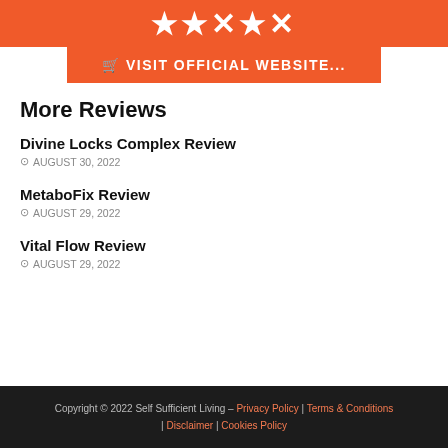[Figure (other): Orange banner with star rating symbols and Visit Official Website button]
More Reviews
Divine Locks Complex Review
AUGUST 30, 2022
MetaboFix Review
AUGUST 29, 2022
Vital Flow Review
AUGUST 29, 2022
Copyright © 2022 Self Sufficient Living – Privacy Policy | Terms & Conditions | Disclaimer | Cookies Policy